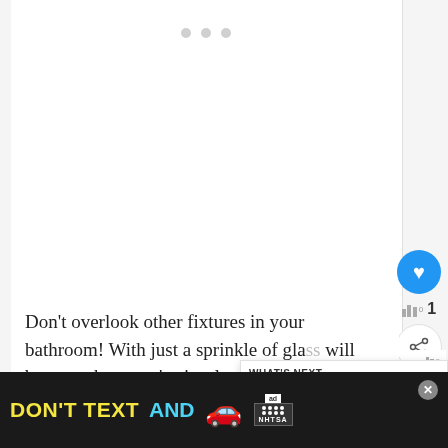[Figure (other): Blank white image placeholder with three small gray dots at the top center, indicating an unloaded or placeholder image in an article about bathroom fixtures]
Don't overlook other fixtures in your bathroom! With just a sprinkle of gla will become the space's visual anchor and turn some possessive eyes. Below are a
[Figure (other): What's Next promotional overlay showing a circular thumbnail of a bathroom interior and the text '30+ Coolest Boy Bathroo...' with a blue progress bar]
[Figure (other): NHTSA advertisement banner at the bottom of the page with yellow text 'DON'T TEXT AND' followed by a red car emoji, an ad badge icon, and NHTSA branding on a dark background]